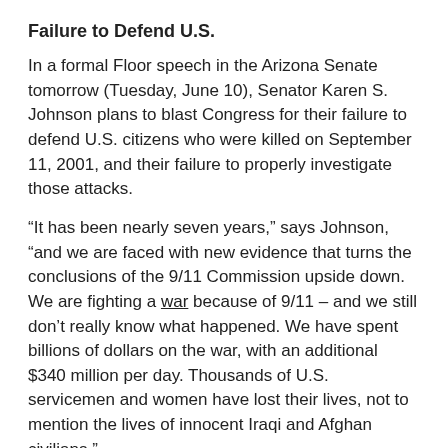Failure to Defend U.S.
In a formal Floor speech in the Arizona Senate tomorrow (Tuesday, June 10), Senator Karen S. Johnson plans to blast Congress for their failure to defend U.S. citizens who were killed on September 11, 2001, and their failure to properly investigate those attacks.
“It has been nearly seven years,” says Johnson, “and we are faced with new evidence that turns the conclusions of the 9/11 Commission upside down. We are fighting a war because of 9/11 – and we still don’t really know what happened. We have spent billions of dollars on the war, with an additional $340 million per day. Thousands of U.S. servicemen and women have lost their lives, not to mention the lives of innocent Iraqi and Afghan civilians.”